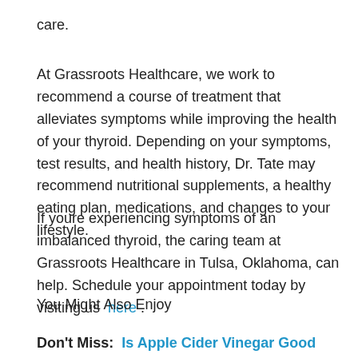care.
At Grassroots Healthcare, we work to recommend a course of treatment that alleviates symptoms while improving the health of your thyroid. Depending on your symptoms, test results, and health history, Dr. Tate may recommend nutritional supplements, a healthy eating plan, medications, and changes to your lifestyle.
If youre experiencing symptoms of an imbalanced thyroid, the caring team at Grassroots Healthcare in Tulsa, Oklahoma, can help. Schedule your appointment today by visiting us here .
You Might Also Enjoy
Don't Miss:  Is Apple Cider Vinegar Good For Your Thyroid